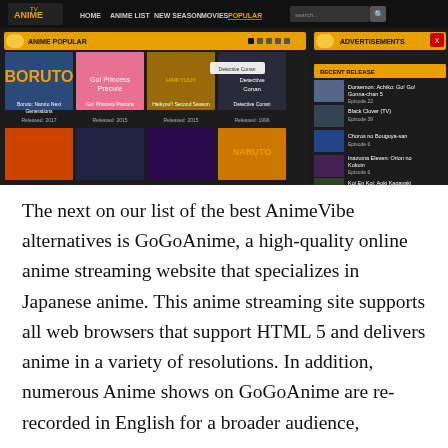[Figure (screenshot): Screenshot of GoGoAnime website showing a dark-themed anime streaming site. The top navigation bar has the Anime TV logo, menu items (HOME, ANIME LIST, NEW SEASON, MOVIES, POPULAR) and a search box. Below is an ANIME POPULAR section showing 8 anime thumbnails including Boruto: Naruto Next Generations (Released: 2017), Go! Princess Precure (Released: 2015), Haikyuu!! Second Season (Released: 2015), Detective Conan (Released: 1996), and 4 more in a second row. On the right side is an ADVERTISEMENTS panel and a RECENT RELEASE panel listing: Doraemon: Achiko: Go! Go! Gonna-chan 5 Episode 22, Black Clover (TV) Episode 39, Choros no Bouguya-san Episode 6, Inazuma Eleven: Orion no Kokuin Episode 6, Koi Koi Koi: Aoki Kagayaki.]
The next on our list of the best AnimeVibe alternatives is GoGoAnime, a high-quality online anime streaming website that specializes in Japanese anime. This anime streaming site supports all web browsers that support HTML 5 and delivers anime in a variety of resolutions. In addition, numerous Anime shows on GoGoAnime are re-recorded in English for a broader audience,